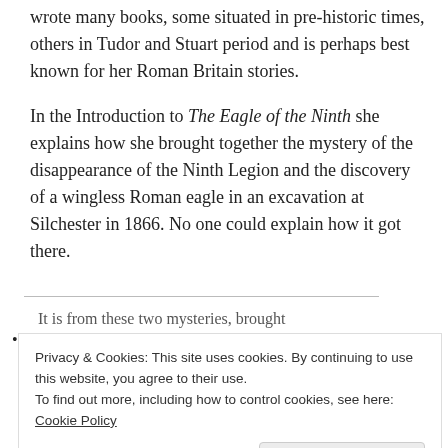wrote many books, some situated in pre-historic times, others in Tudor and Stuart period and is perhaps best known for her Roman Britain stories.
In the Introduction to The Eagle of the Ninth she explains how she brought together the mystery of the disappearance of the Ninth Legion and the discovery of a wingless Roman eagle in an excavation at Silchester in 1866. No one could explain how it got there.
It is from these two mysteries, brought together, that I have made the story of ‘The
Privacy & Cookies: This site uses cookies. By continuing to use this website, you agree to their use.
To find out more, including how to control cookies, see here: Cookie Policy
novels.